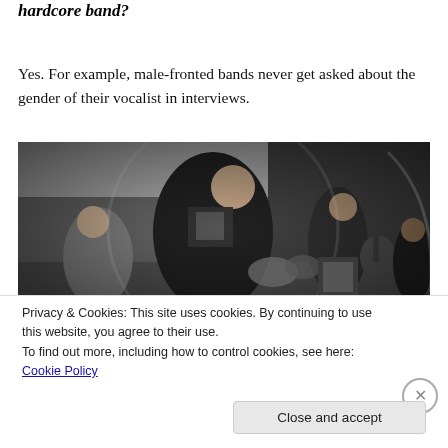hardcore band?
Yes. For example, male-fronted bands never get asked about the gender of their vocalist in interviews.
[Figure (photo): Black and white fisheye lens photo of a hardcore band performing. A large male vocalist in a t-shirt is in the foreground, with guitarists and other band members visible in the background in a small venue.]
Privacy & Cookies: This site uses cookies. By continuing to use this website, you agree to their use.
To find out more, including how to control cookies, see here: Cookie Policy
Close and accept